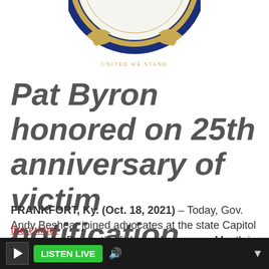[Figure (photo): Partial view of an official government seal, circular, blue and gold with text 'UNITED WE STAND' visible, cropped at top of page]
Pat Byron honored on 25th anniversary of victim notification system
FRANKFORT, Ky. (Oct. 18, 2021) – Today, Gov. Andy Beshear joined advocates at the state Capitol to proclaim Domestic Violence Awareness Month in Kentucky, and he urged Kentuckians to speak out and take a stand against this crime.
the crime.
LISTEN LIVE (audio player bar)
The Gov...